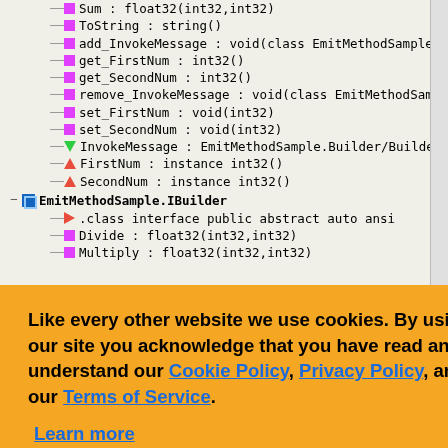[Figure (screenshot): IDE class browser tree showing EmitMethodSample.Builder and EmitMethodSample.IBuilder with methods: Sum: float32(int32,int32), ToString: string(), add_InvokeMessage: void(class EmitMethodSample.Builder/BuilderDelegate), get_FirstNum: int32(), get_SecondNum: int32(), remove_InvokeMessage: void(class EmitMethodSample.Builder/BuilderDelegate), set_FirstNum: void(int32), set_SecondNum: void(int32), InvokeMessage: EmitMethodSample.Builder/BuilderDelegate, FirstNum: instance int32(), SecondNum: instance int32(), EmitMethodSample.IBuilder expanded with .class interface public abstract auto ansi, Divide: float32(int32,int32), Multiply: float32(int32,int32)]
[Figure (screenshot): Cookie consent banner overlay with orange background asking about cookie policy, privacy policy, and terms of service. Buttons: Ask me later, Decline, Allow cookies.]
SM and see . Basically it contains two type .class